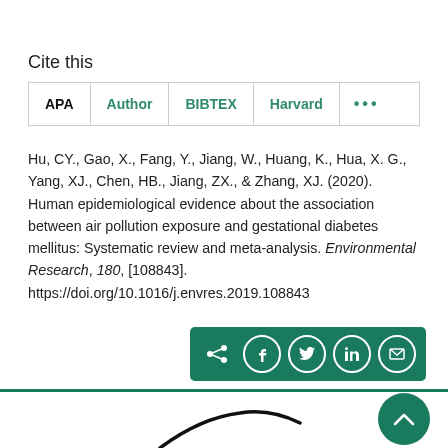Cite this
APA  Author  BIBTEX  Harvard  ...
Hu, CY., Gao, X., Fang, Y., Jiang, W., Huang, K., Hua, X. G., Yang, XJ., Chen, HB., Jiang, ZX., & Zhang, XJ. (2020). Human epidemiological evidence about the association between air pollution exposure and gestational diabetes mellitus: Systematic review and meta-analysis. Environmental Research, 180, [108843]. https://doi.org/10.1016/j.envres.2019.108843
[Figure (other): Share icons bar with social media buttons: share, facebook, twitter, linkedin, email on teal background]
[Figure (other): Back to top button, teal circle with upward chevron]
[Figure (logo): Partial logo/brand mark at bottom of page]